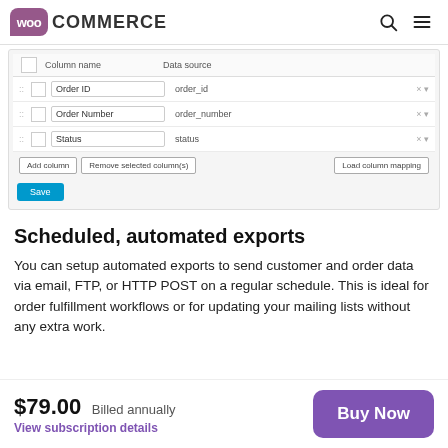[Figure (screenshot): WooCommerce plugin page header with logo and navigation icons (search, hamburger menu)]
[Figure (screenshot): WooCommerce order export column mapping UI showing a table with Column name and Data source fields. Rows include Order ID (order_id), Order Number (order_number), Status (status). Buttons: Add column, Remove selected column(s), Load column mapping, and Save.]
Scheduled, automated exports
You can setup automated exports to send customer and order data via email, FTP, or HTTP POST on a regular schedule. This is ideal for order fulfillment workflows or for updating your mailing lists without any extra work.
$79.00  Billed annually
View subscription details